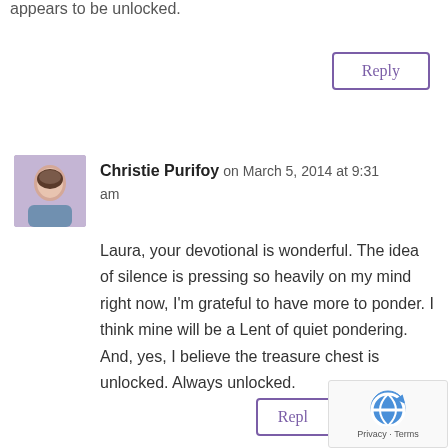appears to be unlocked.
Reply
Christie Purifoy on March 5, 2014 at 9:31 am
Laura, your devotional is wonderful. The idea of silence is pressing so heavily on my mind right now, I'm grateful to have more to ponder. I think mine will be a Lent of quiet pondering. And, yes, I believe the treasure chest is unlocked. Always unlocked.
Reply